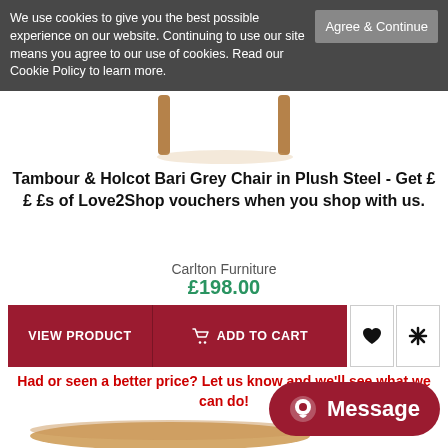We use cookies to give you the best possible experience on our website. Continuing to use our site means you agree to our use of cookies. Read our Cookie Policy to learn more.
Agree & Continue
[Figure (photo): Partial view of a chair with wooden legs visible against white background]
Tambour & Holcot Bari Grey Chair in Plush Steel - Get ££ £s of Love2Shop vouchers when you shop with us.
Carlton Furniture
£198.00
VIEW PRODUCT
ADD TO CART
Had or seen a better price? Let us know and we'll see what we can do!
[Figure (screenshot): Message button with chat icon in dark red/maroon color at bottom right]
Message